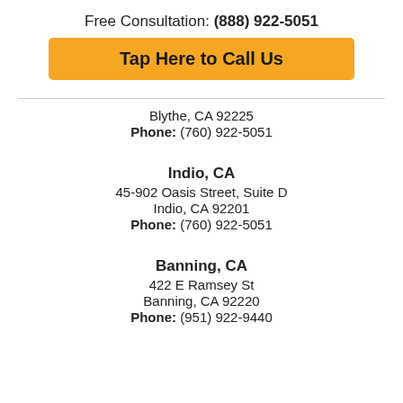Free Consultation: (888) 922-5051
Tap Here to Call Us
Blythe, CA 92225
Phone: (760) 922-5051
Indio, CA
45-902 Oasis Street, Suite D
Indio, CA 92201
Phone: (760) 922-5051
Banning, CA
422 E Ramsey St
Banning, CA 92220
Phone: (951) 922-9440